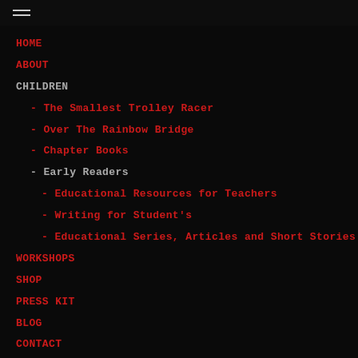≡
HOME
ABOUT
CHILDREN
- The Smallest Trolley Racer
- Over The Rainbow Bridge
- Chapter Books
- Early Readers
- Educational Resources for Teachers
- Writing for Student's
- Educational Series, Articles and Short Stories
WORKSHOPS
SHOP
PRESS KIT
BLOG
CONTACT
NOVELS
- Minotaur